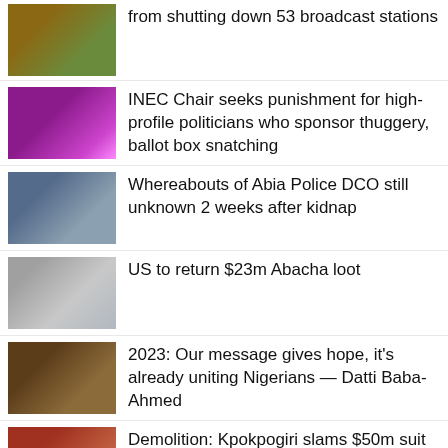from shutting down 53 broadcast stations
INEC Chair seeks punishment for high-profile politicians who sponsor thuggery, ballot box snatching
Whereabouts of Abia Police DCO still unknown 2 weeks after kidnap
US to return $23m Abacha loot
2023: Our message gives hope, it’s already uniting Nigerians — Datti Baba-Ahmed
Demolition: Kpokpogiri slams $50m suit against FCT Minister, others
FG decries abuse of expatriate quota policy, re-